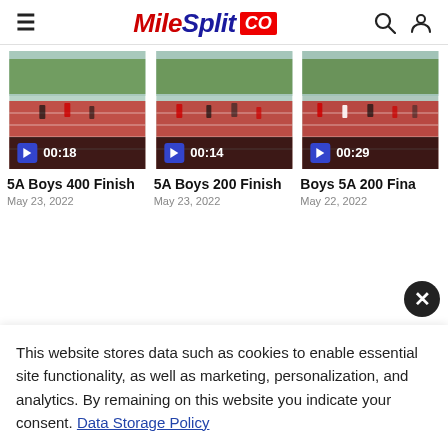MileSplit CO
[Figure (screenshot): Video thumbnail of track race with play button overlay showing 00:18]
5A Boys 400 Finish
May 23, 2022
[Figure (screenshot): Video thumbnail of track race with play button overlay showing 00:14]
5A Boys 200 Finish
May 23, 2022
[Figure (screenshot): Video thumbnail of track race with play button overlay showing 00:29]
Boys 5A 200 Fina
May 22, 2022
This website stores data such as cookies to enable essential site functionality, as well as marketing, personalization, and analytics. By remaining on this website you indicate your consent. Data Storage Policy